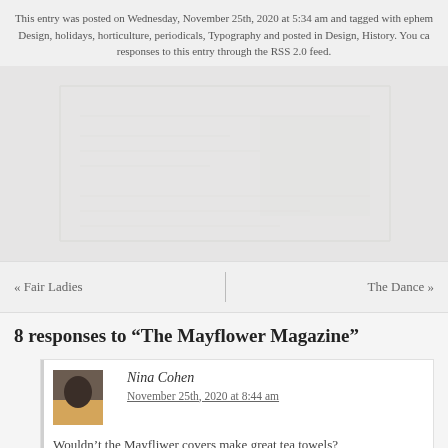This entry was posted on Wednesday, November 25th, 2020 at 5:34 am and tagged with ephem Design, holidays, horticulture, periodicals, Typography and posted in Design, History. You ca responses to this entry through the RSS 2.0 feed.
[Figure (photo): Faded/watermark background image area]
« Fair Ladies
The Dance
8 responses to “The Mayflower Magazine”
Nina Cohen
November 25th, 2020 at 8:44 am
Wouldn’t the Mayfliwer covers make great tea towels?
Loading...
daseger